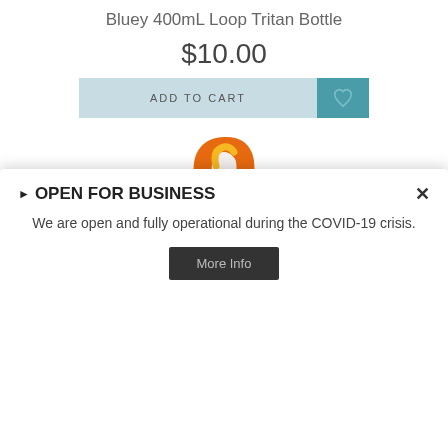Bluey 400mL Loop Tritan Bottle
$10.00
[Figure (screenshot): ADD TO CART button with light blue background and a teal wishlist heart icon button on the right]
[Figure (photo): Close-up photo of a Bluey 400mL Loop Tritan Bottle top, showing an orange loop handle cap on a light blue bottle body with Bluey branding visible]
OPEN FOR BUSINESS
We are open and fully operational during the COVID-19 crisis.
More Info